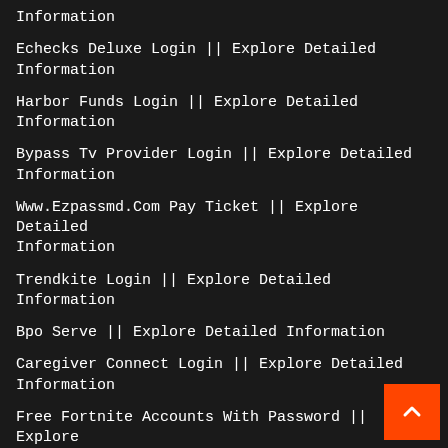Information
Echecks Deluxe Login || Explore Detailed Information
Harbor Funds Login || Explore Detailed Information
Bypass Tv Provider Login || Explore Detailed Information
Www.Ezpassmd.Com Pay Ticket || Explore Detailed Information
Trendkite Login || Explore Detailed Information
Bpo Serve || Explore Detailed Information
Caregiver Connect Login || Explore Detailed Information
Free Fortnite Accounts With Password || Explore Detailed Information
Myxpo.Xpo.Com Login || Explore Detailed Information
Xpo Dms || Explore Detailed Information
Mhub Marriott Login || Explore Detailed Information
Canvas Llu || Explore Detailed Information
Supply Logix || Explore Detailed Information
Logarithmic Differentiation Calculator || Explore